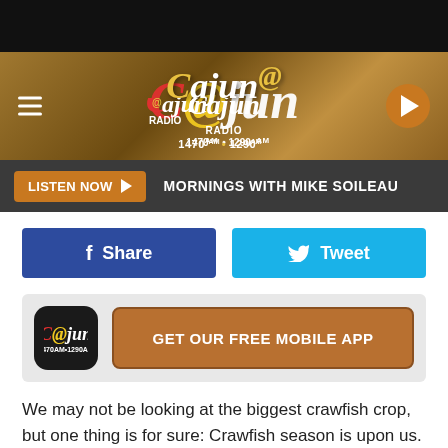[Figure (screenshot): Cajun Radio website header with logo showing '1470AM • 1290AM', hamburger menu on left, play button on right, golden/brown background]
LISTEN NOW ► MORNINGS WITH MIKE SOILEAU
[Figure (other): Facebook Share button (blue) and Twitter Tweet button (cyan) side by side]
[Figure (other): GET OUR FREE MOBILE APP promotional banner with Cajun Radio app icon]
We may not be looking at the biggest crawfish crop, but one thing is for sure: Crawfish season is upon us.  Those spicy crustaceans Louisiana is famous for are being boiled up by the thousands as we speak, and there are plenty of mudbug-lovers waiting gobble them all up!  State officials are now